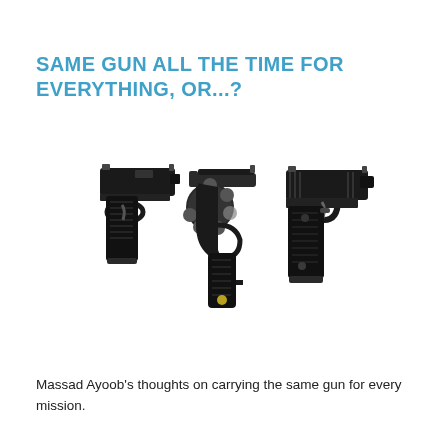SAME GUN ALL THE TIME FOR EVERYTHING, OR...?
[Figure (photo): Three handguns arranged side by side: a semi-automatic pistol (Glock-style) on the left, a revolver in the center, and another semi-automatic pistol on the right, all photographed on a white background.]
Massad Ayoob's thoughts on carrying the same gun for every mission.